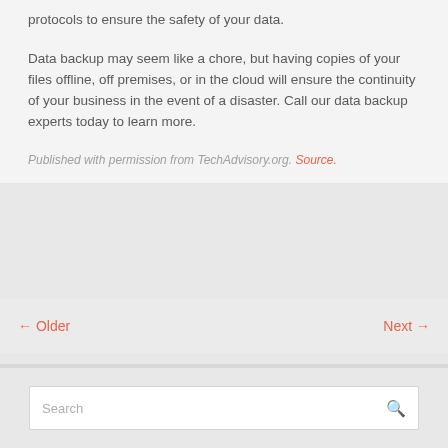protocols to ensure the safety of your data.
Data backup may seem like a chore, but having copies of your files offline, off premises, or in the cloud will ensure the continuity of your business in the event of a disaster. Call our data backup experts today to learn more.
Published with permission from TechAdvisory.org. Source.
← Older    Next →